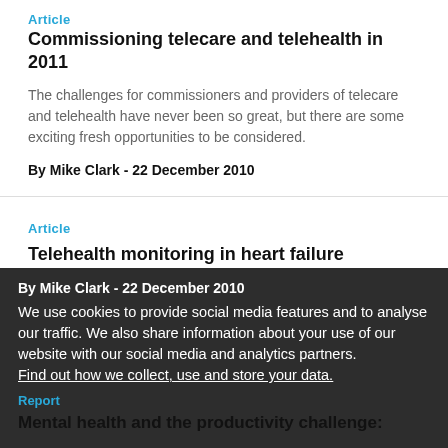Article
Commissioning telecare and telehealth in 2011
The challenges for commissioners and providers of telecare and telehealth have never been so great, but there are some exciting fresh opportunities to be considered.
By Mike Clark - 22 December 2010
Article
Telehealth monitoring in heart failure
Recently published trials on telehealth monitoring in heart failure
By Mike Clark - 22 December 2010
We use cookies to provide social media features and to analyse our traffic. We also share information about your use of our website with our social media and analytics partners.
Find out how we collect, use and store your data.
Report
Mental health and the productivity challenge: